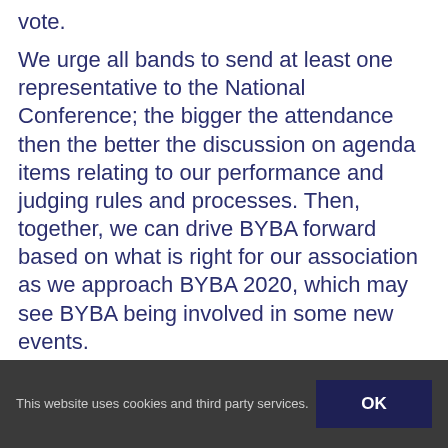vote.
We urge all bands to send at least one representative to the National Conference; the bigger the attendance then the better the discussion on agenda items relating to our performance and judging rules and processes. Then, together, we can drive BYBA forward based on what is right for our association as we approach BYBA 2020, which may see BYBA being involved in some new events.
Any questions, proposals or discussion points can be submitted
This website uses cookies and third party services.